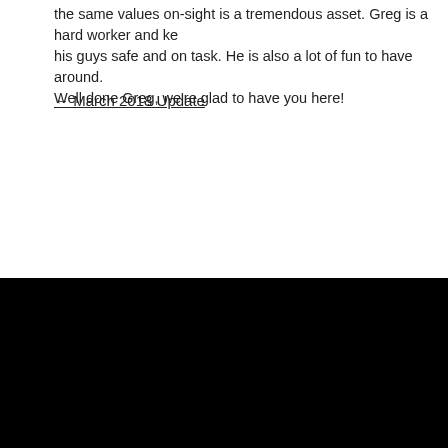the same values on-sight is a tremendous asset. Greg is a hard worker and keeps his guys safe and on task. He is also a lot of fun to have around.
Well done Greg, we're glad to have you here!
← March 2018 Update    Escape to the Garage →